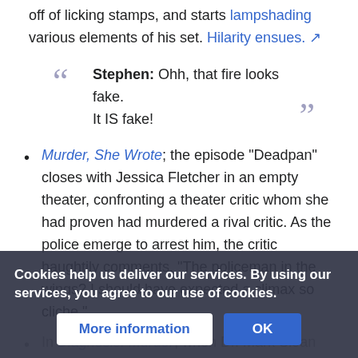off of licking stamps, and starts lampshading various elements of his set. Hilarity ensues. [external link]
Stephen: Ohh, that fire looks fake. It IS fake!
Murder, She Wrote; the episode "Deadpan" closes with Jessica Fletcher in an empty theater, confronting a theater critic whom she had proven had murdered a rival critic. As the police emerge to arrest him, the critic haughtily comments, "The policeman in the wings? I should have expected a climax so cliche."
In Diagnosis: Murder, when Dr. Mark Sloan manages to inconvenience a group of domestic terrorists who had kidnapped him, a FBI agent assigned to the case comments, "... snap! I swear,
Cookies help us deliver our services. By using our services, you agree to our use of cookies.